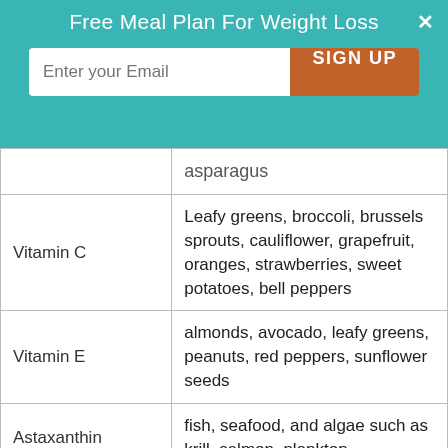[Figure (screenshot): Teal popup banner with 'Free Meal Plan For Weight Loss' title, email input field, and orange SIGN UP button with a close X]
|  |  |
| --- | --- |
|  | asparagus |
| Vitamin C | Leafy greens, broccoli, brussels sprouts, cauliflower, grapefruit, oranges, strawberries, sweet potatoes, bell peppers |
| Vitamin E | almonds, avocado, leafy greens, peanuts, red peppers, sunflower seeds |
| Astaxanthin | fish, seafood, and algae such as krill, salmon, plankton |
|  | Resveratrol (from wine, grapes, peanuts, berries), Anthocyanins (from |
| Phenolic |  |